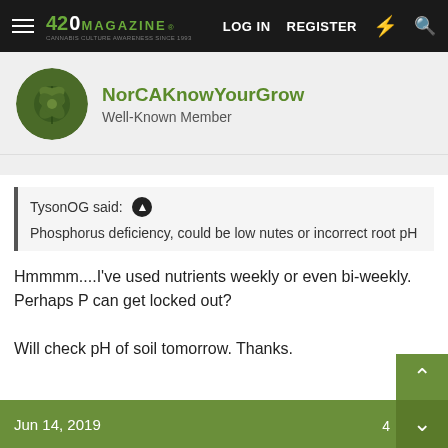420 MAGAZINE® LOG IN REGISTER
NorCAKnowYourGrow
Well-Known Member
TysonOG said: ↑
Phosphorus deficiency, could be low nutes or incorrect root pH
Hmmmm....I've used nutrients weekly or even bi-weekly. Perhaps P can get locked out?

Will check pH of soil tomorrow. Thanks.
Jun 14, 2019